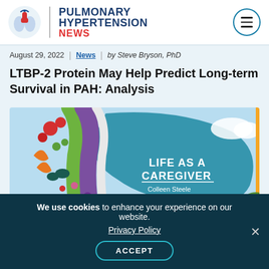[Figure (logo): Pulmonary Hypertension News logo with lung icon, blue text and red NEWS word, and hamburger menu button in circle]
August 29, 2022 | News | by Steve Bryson, PhD
LTBP-2 Protein May Help Predict Long-term Survival in PAH: Analysis
[Figure (illustration): Life As A Caregiver illustration with colorful ribbon (green, purple, white stripes), flowers, teal blob background shape, and text LIFE AS A CAREGIVER by Colleen Steele]
We use cookies to enhance your experience on our website. Privacy Policy ACCEPT